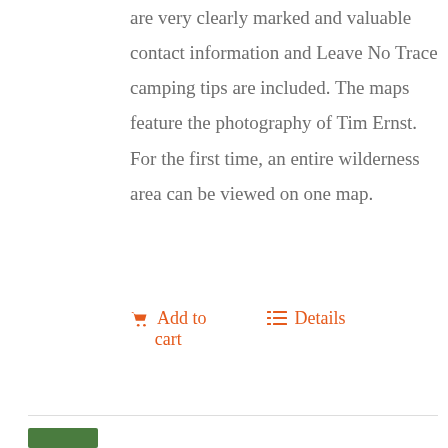are very clearly marked and valuable contact information and Leave No Trace camping tips are included. The maps feature the photography of Tim Ernst. For the first time, an entire wilderness area can be viewed on one map.
Add to cart   Details